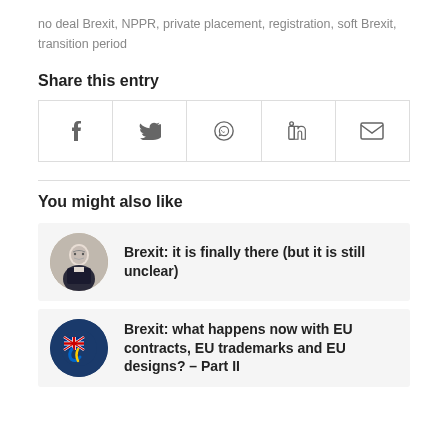no deal Brexit, NPPR, private placement, registration, soft Brexit, transition period
Share this entry
[Figure (other): Social media share icons row: Facebook, Twitter, WhatsApp, LinkedIn, Email]
You might also like
Brexit: it is finally there (but it is still unclear)
Brexit: what happens now with EU contracts, EU trademarks and EU designs? – Part II